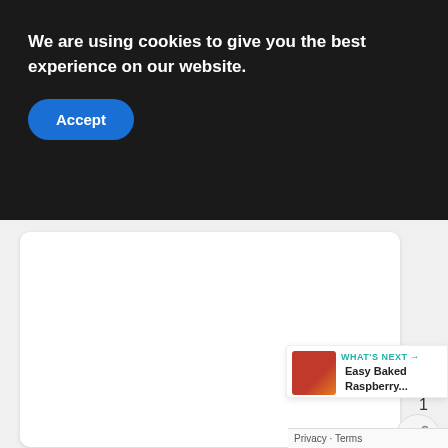We are using cookies to give you the best experience on our website.
Accept
[Figure (other): White content card area (image placeholder)]
1
WHAT'S NEXT → Easy Baked Raspberry...
Privacy · Terms
Instructions
1.  Soften the butter. Place 4 tablespoons butter on the